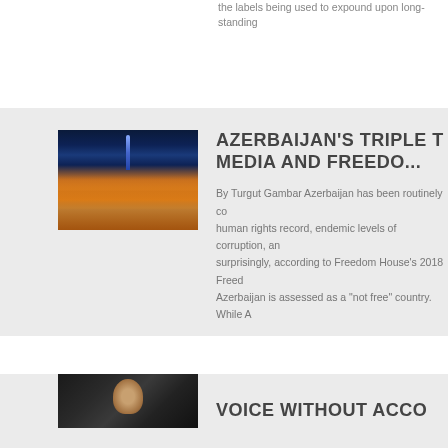the labels being used to expound upon long-standing
[Figure (photo): Night cityscape of Baku, Azerbaijan with illuminated buildings and a tower (likely Baku TV tower) against a dark sky]
AZERBAIJAN'S TRIPLE T MEDIA AND FREEDO...
By Turgut Gambar Azerbaijan has been routinely co... human rights record, endemic levels of corruption, an... surprisingly, according to Freedom House's 2018 Freed... Azerbaijan is assessed as a "not free" country. While A...
[Figure (photo): Portrait photo of a person, dark background]
VOICE WITHOUT ACCO...